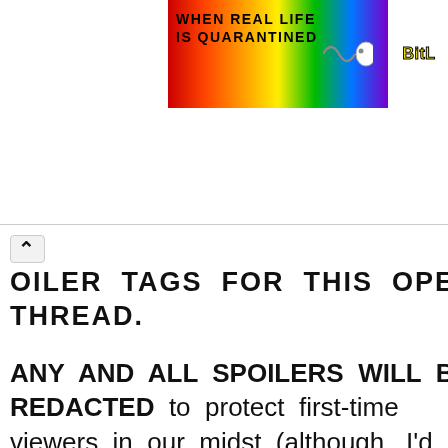[Figure (illustration): Colorful rainbow banner with text 'WHEN REAL LIFE IS QUARANTINED' and 'BitL' logo on the right side]
^ OILER TAGS FOR THIS OPEN THREAD.
ANY AND ALL SPOILERS WILL BE REDACTED to protect first-time viewers in our midst (although, I'd appreciate it if you would save me the trouble of having to redact spoilers, heh 😊).